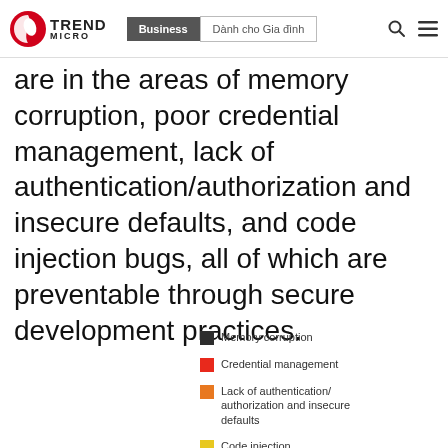Trend Micro | Business | Dành cho Gia đình
are in the areas of memory corruption, poor credential management, lack of authentication/authorization and insecure defaults, and code injection bugs, all of which are preventable through secure development practices.
Memory corruption
Credential management
Lack of authentication/authorization and insecure defaults
Code injection
Others